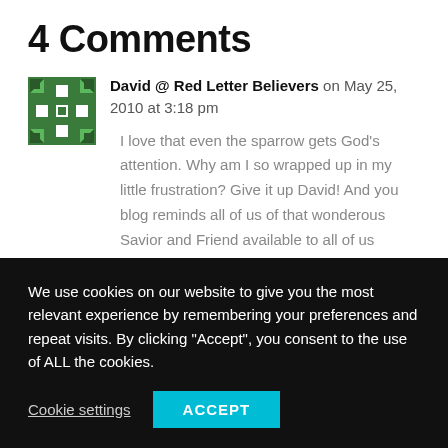4 Comments
David @ Red Letter Believers on May 25, 2010 at 3:18 pm
I love that even the sparrow gets God’s attention. Why am I so wrapped up in my little frustration? Give it up David! And you blog reminds all of us of that wonderous Savior and Friend available to all of us
We use cookies on our website to give you the most relevant experience by remembering your preferences and repeat visits. By clicking “Accept”, you consent to the use of ALL the cookies.
Cookie settings
ACCEPT